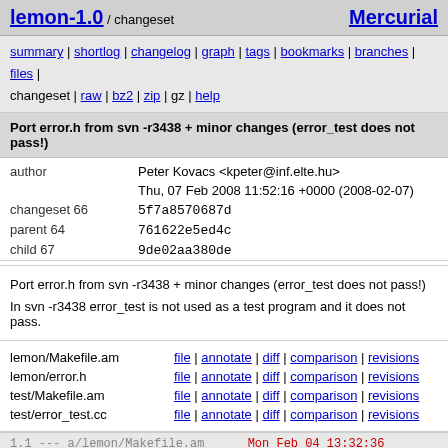lemon-1.0 / changeset   Mercurial
summary | shortlog | changelog | graph | tags | bookmarks | branches | files | changeset | raw | bz2 | zip | gz | help
Port error.h from svn -r3438 + minor changes (error_test does not pass!)
| field | value |
| --- | --- |
| author | Peter Kovacs <kpeter@inf.elte.hu> |
|  | Thu, 07 Feb 2008 11:52:16 +0000 (2008-02-07) |
| changeset 66 | 5f7a8570687d |
| parent 64 | 761622e5ed4c |
| child 67 | 9de02aa380de |
Port error.h from svn -r3438 + minor changes (error_test does not pass!)

In svn -r3438 error_test is not used as a test program and it does not pass.
| file | links |
| --- | --- |
| lemon/Makefile.am | file | annotate | diff | comparison | revisions |
| lemon/error.h | file | annotate | diff | comparison | revisions |
| test/Makefile.am | file | annotate | diff | comparison | revisions |
| test/error_test.cc | file | annotate | diff | comparison | revisions |
1.1 --- a/lemon/Makefile.am    Mon Feb 04 13:32:36